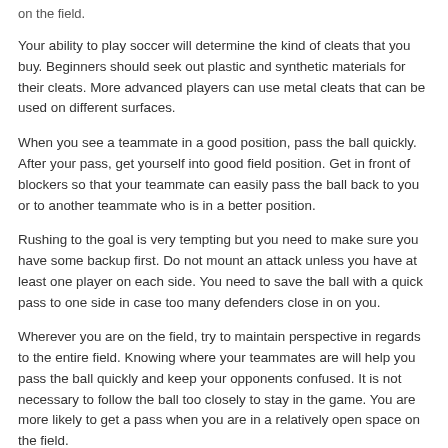on the field.
Your ability to play soccer will determine the kind of cleats that you buy. Beginners should seek out plastic and synthetic materials for their cleats. More advanced players can use metal cleats that can be used on different surfaces.
When you see a teammate in a good position, pass the ball quickly. After your pass, get yourself into good field position. Get in front of blockers so that your teammate can easily pass the ball back to you or to another teammate who is in a better position.
Rushing to the goal is very tempting but you need to make sure you have some backup first. Do not mount an attack unless you have at least one player on each side. You need to save the ball with a quick pass to one side in case too many defenders close in on you.
Wherever you are on the field, try to maintain perspective in regards to the entire field. Knowing where your teammates are will help you pass the ball quickly and keep your opponents confused. It is not necessary to follow the ball too closely to stay in the game. You are more likely to get a pass when you are in a relatively open space on the field.